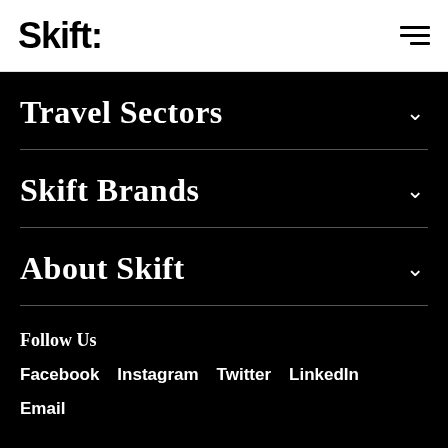Skift
Travel Sectors
Skift Brands
About Skift
Follow Us
Facebook
Instagram
Twitter
LinkedIn
Email